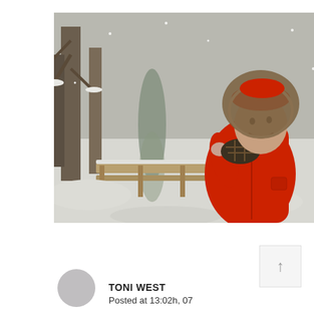[Figure (photo): Woman in bright red winter jacket and fur-trimmed hood smiling outdoors in a snowy forest with a wooden bridge/railing, snow-covered trees and a small creek in the background.]
TONI WEST
Posted at 13:02h, 07